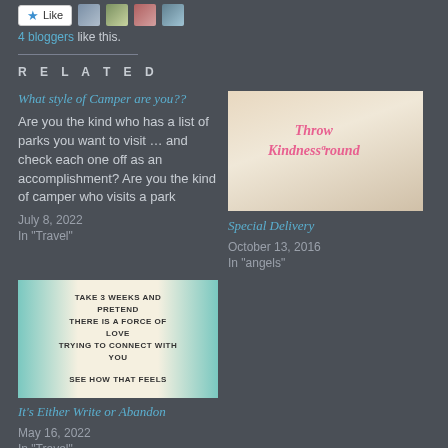[Figure (other): Like button with star icon and four blogger avatars]
4 bloggers like this.
RELATED
What style of Camper are you??
Are you the kind who has a list of parks you want to visit … and check each one off as an accomplishment? Are you the kind of camper who visits a park
July 8, 2022
In "Travel"
[Figure (photo): Photo of person holding object with text Throw Kindness around]
Special Delivery
October 13, 2016
In "angels"
[Figure (photo): Card image with text: TAKE 3 WEEKS AND PRETEND THERE IS A FORCE OF LOVE TRYING TO CONNECT WITH YOU. SEE HOW THAT FEELS]
It's Either Write or Abandon
May 16, 2022
In "Travel"